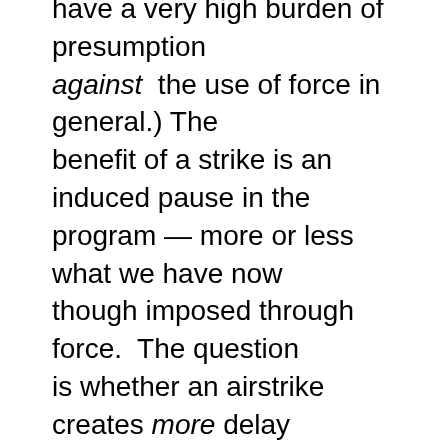have a very high burden of presumption against the use of force in general.) The benefit of a strike is an induced pause in the program — more or less what we have now though imposed through force. The question is whether an airstrike creates more delay than the current indecision of the Supreme Leader. So far, I think, the best answer has been no — the NIE believes Iran is reluctant to force the issue by attempting to weaponize its capabilities.

This framing of the policy problem assumes that, once attacked, the Supreme Leader would very likely order a crash program to